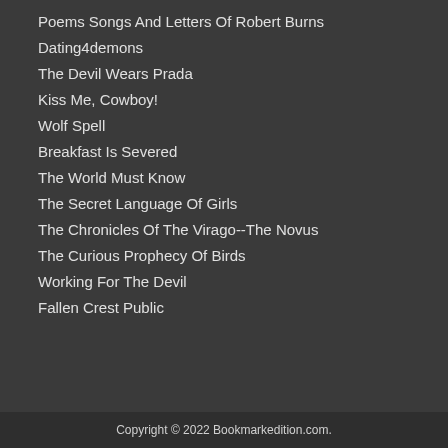Poems Songs And Letters Of Robert Burns
Dating4demons
The Devil Wears Prada
Kiss Me, Cowboy!
Wolf Spell
Breakfast Is Severed
The World Must Know
The Secret Language Of Girls
The Chronicles Of The Virago--The Novus
The Curious Prophecy Of Birds
Working For The Devil
Fallen Crest Public
Copyright © 2022 Bookmarkedition.com.